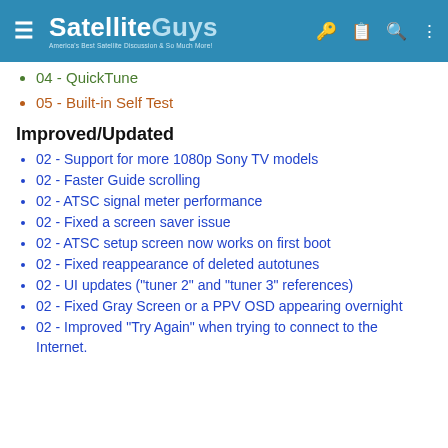SatelliteGuys — America's Best Satellite Discussion & So Much More!
04 - QuickTune
05 - Built-in Self Test
Improved/Updated
02 - Support for more 1080p Sony TV models
02 - Faster Guide scrolling
02 - ATSC signal meter performance
02 - Fixed a screen saver issue
02 - ATSC setup screen now works on first boot
02 - Fixed reappearance of deleted autotunes
02 - UI updates ("tuner 2" and "tuner 3" references)
02 - Fixed Gray Screen or a PPV OSD appearing overnight
02 - Improved "Try Again" when trying to connect to the Internet.